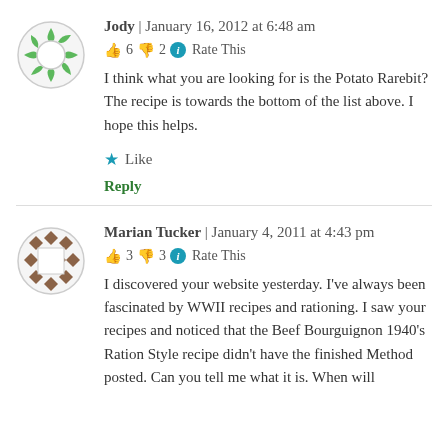Jody | January 16, 2012 at 6:48 am
👍 6 👎 2 ℹ Rate This
I think what you are looking for is the Potato Rarebit? The recipe is towards the bottom of the list above. I hope this helps.
★ Like
Reply
Marian Tucker | January 4, 2011 at 4:43 pm
👍 3 👎 3 ℹ Rate This
I discovered your website yesterday. I've always been fascinated by WWII recipes and rationing. I saw your recipes and noticed that the Beef Bourguignon 1940's Ration Style recipe didn't have the finished Method posted. Can you tell me what it is. When will